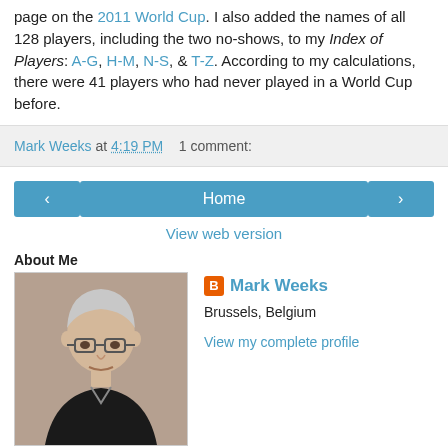page on the 2011 World Cup. I also added the names of all 128 players, including the two no-shows, to my Index of Players: A-G, H-M, N-S, & T-Z. According to my calculations, there were 41 players who had never played in a World Cup before.
Mark Weeks at 4:19 PM   1 comment:
< Home > View web version
About Me
Mark Weeks
Brussels, Belgium
View my complete profile
Powered by Blogger.